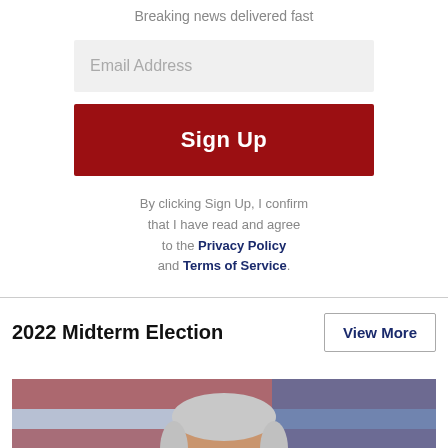Breaking news delivered fast
Email Address
Sign Up
By clicking Sign Up, I confirm that I have read and agree to the Privacy Policy and Terms of Service.
2022 Midterm Election
View More
[Figure (photo): Close-up photo of an elderly man with gray hair against a backdrop of red white and blue flags, resembling a campaign or political rally setting]